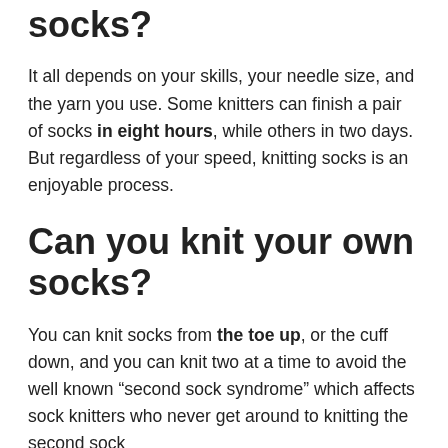How long does it take to knit socks?
It all depends on your skills, your needle size, and the yarn you use. Some knitters can finish a pair of socks in eight hours, while others in two days. But regardless of your speed, knitting socks is an enjoyable process.
Can you knit your own socks?
You can knit socks from the toe up, or the cuff down, and you can knit two at a time to avoid the well known “second sock syndrome” which affects sock knitters who never get around to knitting the second sock